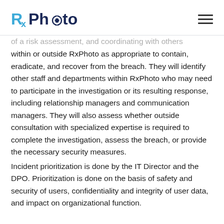RxPhoto
of a risk assessment, and coordinating with others within or outside RxPhoto as appropriate to contain, eradicate, and recover from the breach. They will identify other staff and departments within RxPhoto who may need to participate in the investigation or its resulting response, including relationship managers and communication managers. They will also assess whether outside consultation with specialized expertise is required to complete the investigation, assess the breach, or provide the necessary security measures.
Incident prioritization is done by the IT Director and the DPO. Prioritization is done on the basis of safety and security of users, confidentiality and integrity of user data, and impact on organizational function.